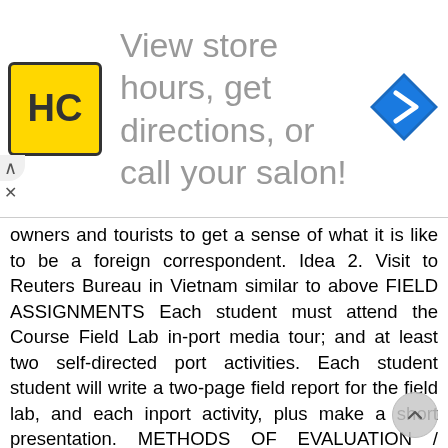[Figure (other): Advertisement banner: HC salon logo (yellow square with HC text), text 'View store hours, get directions, or call your salon!' and a blue navigation arrow icon on the right.]
owners and tourists to get a sense of what it is like to be a foreign correspondent. Idea 2. Visit to Reuters Bureau in Vietnam similar to above FIELD ASSIGNMENTS Each student must attend the Course Field Lab in-port media tour; and at least two self-directed port activities. Each student student will write a two-page field report for the field lab, and each inport activity, plus make a short presentation. METHODS OF EVALUATION / GRADING RUBRIC Students will be evaluated on four criteria: in-port field research individual research paper, exams and class participation/presentations. Field Assignment Reports: Each student must attend the Course Field Lab in-port media tour; and at least two self-directed port activities. Each student student will write a two-page field report for the field lab, and each in-port activity, plus make a short presentation. Three reports and a presentation for a total of 20 points. Individual Research Paper: Each student will research and write an 8 10 page, double spaced final